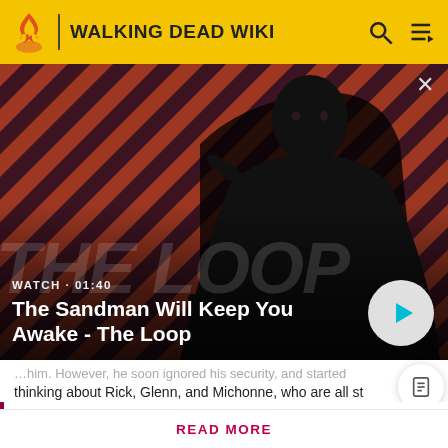WALKING DEAD WIKI
[Figure (screenshot): Video thumbnail showing a dark-cloaked figure with a raven on shoulder against a red and dark diagonal striped background. Video title overlay reads 'The Sandman Will Keep You Awake - The Loop'. Watch time shown as 01:40. Play button visible bottom right.]
thinking about Rick, Glenn, and Michonne, who are all st
Attention! Please be aware that spoilers are not allowed on the wiki and a violation of this policy may result in a ban.
READ MORE